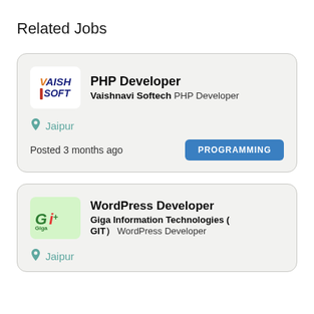Related Jobs
PHP Developer
Vaishnavi Softech PHP Developer
Jaipur
Posted 3 months ago
PROGRAMMING
WordPress Developer
Giga Information Technologies ( GIT ) WordPress Developer
Jaipur